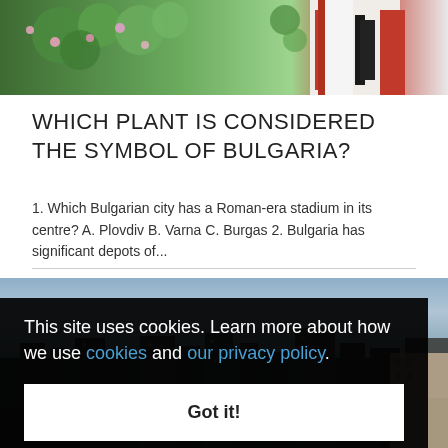[Figure (photo): Person in Bulgarian traditional folk costume with red and white embroidery, standing among green rose bushes with pink flowers]
WHICH PLANT IS CONSIDERED THE SYMBOL OF BULGARIA?
1. Which Bulgarian city has a Roman-era stadium in its centre? A. Plovdiv B. Varna C. Burgas 2. Bulgaria has significant depots of...
[Figure (photo): Aerial city view showing urban skyline with buildings against a grey sky, with green trees in the foreground]
This site uses cookies. Learn more about how we use cookies and our privacy policy.
Got it!